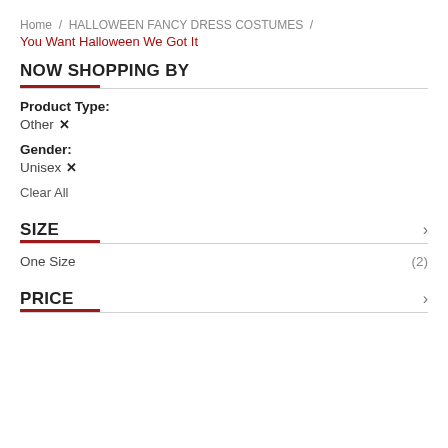Home / HALLOWEEN FANCY DRESS COSTUMES /
You Want Halloween We Got It
NOW SHOPPING BY
Product Type: Other ✕
Gender: Unisex ✕
Clear All
SIZE
One Size (2)
PRICE